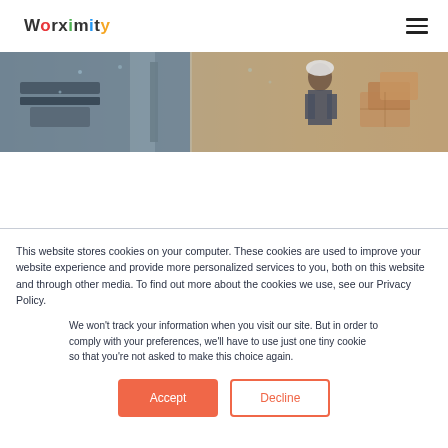Worximity
[Figure (photo): Warehouse/industrial scene with worker wearing hard hat, conveyor equipment and cardboard boxes visible]
This website stores cookies on your computer. These cookies are used to improve your website experience and provide more personalized services to you, both on this website and through other media. To find out more about the cookies we use, see our Privacy Policy.
We won't track your information when you visit our site. But in order to comply with your preferences, we'll have to use just one tiny cookie so that you're not asked to make this choice again.
Accept    Decline